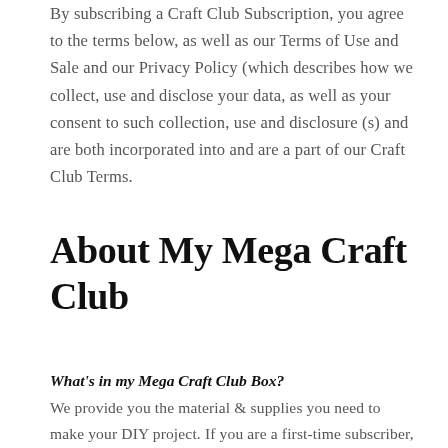By subscribing a Craft Club Subscription, you agree to the terms below, as well as our Terms of Use and Sale and our Privacy Policy (which describes how we collect, use and disclose your data, as well as your consent to such collection, use and disclosure (s) and are both incorporated into and are a part of our Craft Club Terms.
About My Mega Craft Club
What's in my Mega Craft Club Box?
We provide you the material & supplies you need to make your DIY project. If you are a first-time subscriber, you will also receive a tool kit in your first box that has